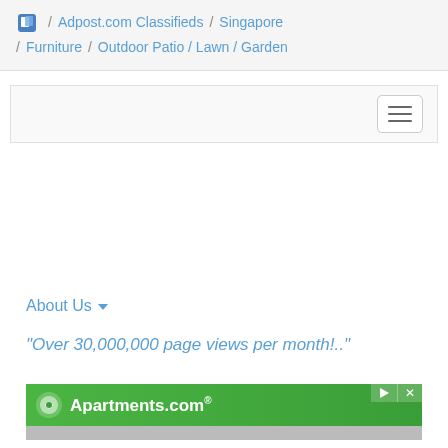/ Adpost.com Classifieds / Singapore / Furniture / Outdoor Patio / Lawn / Garden
[Figure (screenshot): Navigation bar with hamburger menu button on the right]
About Us ▼
"Over 30,000,000 page views per month!.."
[Figure (screenshot): Apartments.com advertisement banner in green]